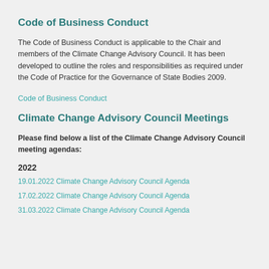Code of Business Conduct
The Code of Business Conduct is applicable to the Chair and members of the Climate Change Advisory Council. It has been developed to outline the roles and responsibilities as required under the Code of Practice for the Governance of State Bodies 2009.
Code of Business Conduct
Climate Change Advisory Council Meetings
Please find below a list of the Climate Change Advisory Council meeting agendas:
2022
19.01.2022 Climate Change Advisory Council Agenda
17.02.2022 Climate Change Advisory Council Agenda
31.03.2022 Climate Change Advisory Council Agenda